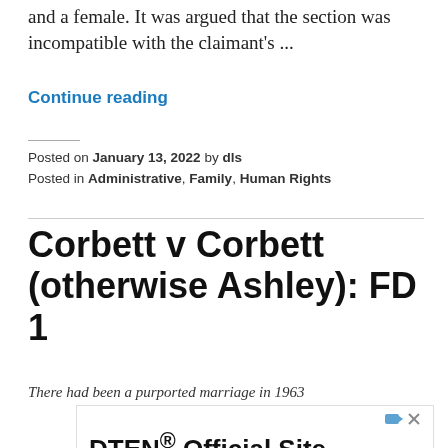and a female. It was argued that the section was incompatible with the claimant's ...
Continue reading
Posted on January 13, 2022 by dls
Posted in Administrative, Family, Human Rights
Corbett v Corbett (otherwise Ashley): FD 1
[Figure (other): Chat overlay with solicitor avatar: 'Want to ask a Solicitor online now? I can connect you ...' with female avatar photo and red notification badge showing 1]
There had been a purported marriage in 1963
[Figure (other): Advertisement banner: DTEN Official Site. Available in 55", 75", Dual 55" and Dual 75". Learn More button.]